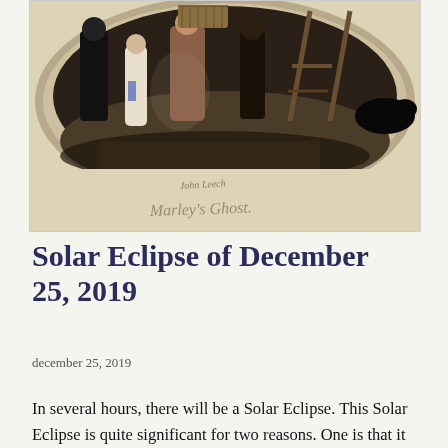[Figure (illustration): A hand-coloured Victorian-era illustration showing several figures in period clothing. Appears to be an illustration of 'Marley's Ghost' from A Christmas Carol, signed by John Leech. The scene shows figures on a street or indoor setting with dramatic shading and an oval vignette style. Artist signature 'John Leech' and title 'Marley's Ghost.' written in cursive at the bottom of the illustration.]
Solar Eclipse of December 25, 2019
december 25, 2019
In several hours, there will be a Solar Eclipse. This Solar Eclipse is quite significant for two reasons. One is that it